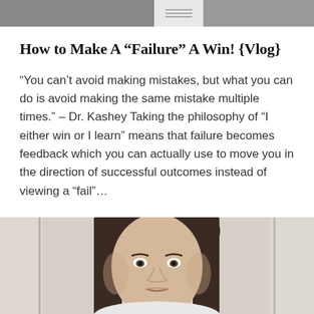[Figure (photo): Top banner with two photo thumbnails and a small text/icon block in the center]
How to Make A “Failure” A Win! {Vlog}
“You can’t avoid making mistakes, but what you can do is avoid making the same mistake multiple times.” – Dr. Kashey Taking the philosophy of “I either win or I learn” means that failure becomes feedback which you can actually use to move you in the direction of successful outcomes instead of viewing a “fail”…
READ MORE
[Figure (photo): Photo of a woman with dark hair, close-up face shot, looking at the camera]